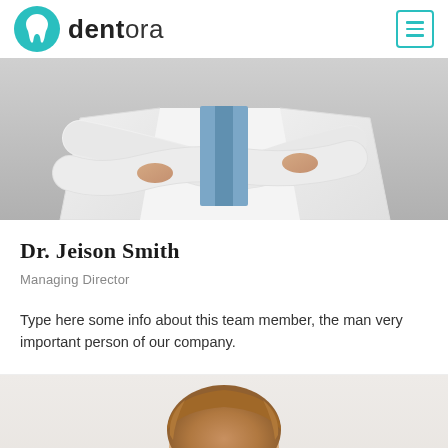dentora
[Figure (photo): Doctor in white coat with arms crossed, torso visible from mid-chest to waist]
Dr. Jeison Smith
Managing Director
Type here some info about this team member, the man very important person of our company.
[Figure (photo): Partial view of person's head/hair at bottom of page]